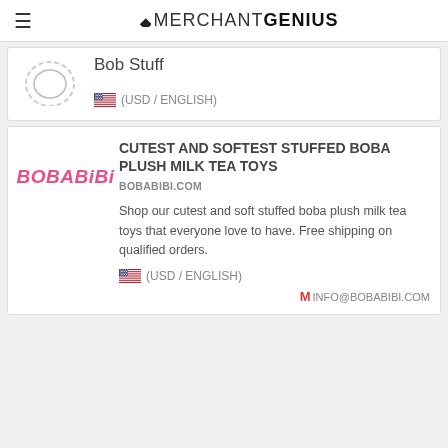MERCHANTGENIUS
Bob Stuff
(USD / ENGLISH)
CUTEST AND SOFTEST STUFFED BOBA PLUSH MILK TEA TOYS
BOBABIBI.COM
[Figure (logo): BOBABIBI logo in pink italic bold text]
Shop our cutest and soft stuffed boba plush milk tea toys that everyone love to have. Free shipping on qualified orders.
(USD / ENGLISH)
INFO@BOBABIBI.COM